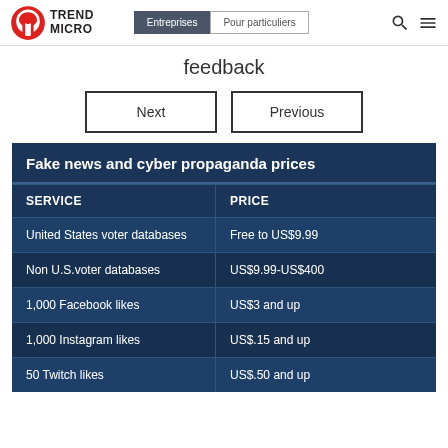Trend Micro — Entreprises | Pour particuliers
feedback
Next | Previous
| SERVICE | PRICE |
| --- | --- |
| United States voter databases | Free to US$9.99 |
| Non U.S.voter databases | US$9.99-US$400 |
| 1,000 Facebook likes | US$3 and up |
| 1,000 Instagram likes | US$.15 and up |
| 50 Twitch likes | US$.50 and up |